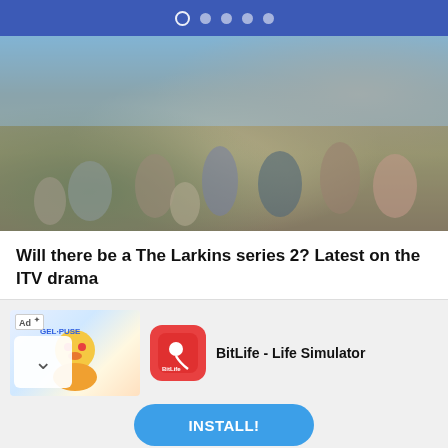navigation dots indicator
[Figure (photo): Group photo of The Larkins TV show cast members standing outdoors near a pond with greenery in the background]
Will there be a The Larkins series 2? Latest on the ITV drama
[Figure (photo): Dramatic close-up shot of two actors from a TV drama, dark and moody atmosphere near a bridge]
[Figure (other): Advertisement banner for BitLife - Life Simulator app with install button]